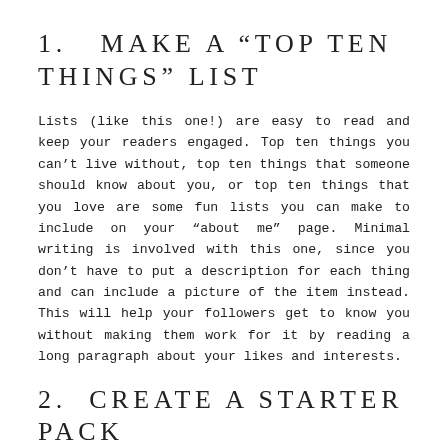1.  MAKE A “TOP TEN THINGS” LIST
Lists (like this one!) are easy to read and keep your readers engaged. Top ten things you can’t live without, top ten things that someone should know about you, or top ten things that you love are some fun lists you can make to include on your “about me” page. Minimal writing is involved with this one, since you don’t have to put a description for each thing and can include a picture of the item instead. This will help your followers get to know you without making them work for it by reading a long paragraph about your likes and interests.
2.  CREATE A STARTER PACK